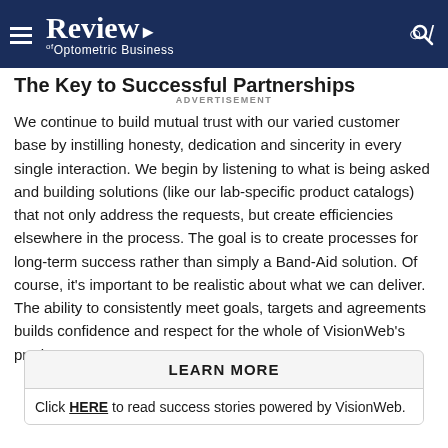Review of Optometric Business
The Key to Successful Partnerships
ADVERTISEMENT
We continue to build mutual trust with our varied customer base by instilling honesty, dedication and sincerity in every single interaction. We begin by listening to what is being asked and building solutions (like our lab-specific product catalogs) that not only address the requests, but create efficiencies elsewhere in the process. The goal is to create processes for long-term success rather than simply a Band-Aid solution. Of course, it's important to be realistic about what we can deliver. The ability to consistently meet goals, targets and agreements builds confidence and respect for the whole of VisionWeb's products.
LEARN MORE
Click HERE to read success stories powered by VisionWeb.